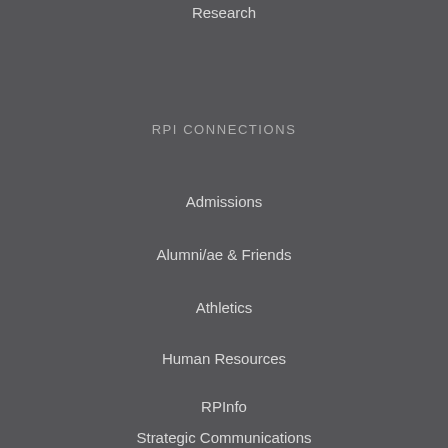Research
RPI CONNECTIONS
Admissions
Alumni/ae & Friends
Athletics
Human Resources
RPInfo
Strategic Communications